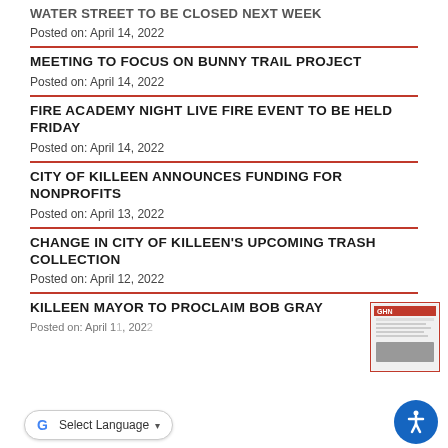WATER STREET TO BE CLOSED NEXT WEEK
Posted on: April 14, 2022
MEETING TO FOCUS ON BUNNY TRAIL PROJECT
Posted on: April 14, 2022
FIRE ACADEMY NIGHT LIVE FIRE EVENT TO BE HELD FRIDAY
Posted on: April 14, 2022
CITY OF KILLEEN ANNOUNCES FUNDING FOR NONPROFITS
Posted on: April 13, 2022
CHANGE IN CITY OF KILLEEN'S UPCOMING TRASH COLLECTION
Posted on: April 12, 2022
KILLEEN MAYOR TO PROCLAIM BOB GRAY
Posted on: April 11, 2022